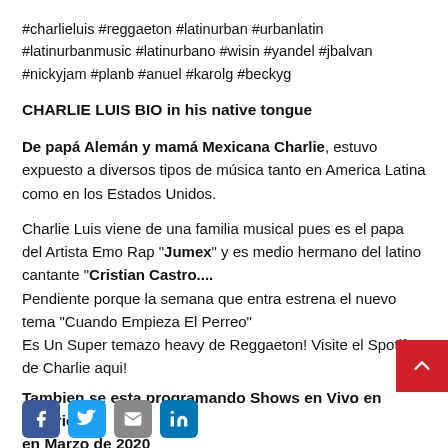#charlieluis #reggaeton #latinurban #urbanlatin #latinurbanmusic #latinurbano #wisin #yandel #jbalvan #nickyjam #planb #anuel #karolg #beckyg
CHARLIE LUIS BIO in his native tongue
De papá Alemán y mamá Mexicana Charlie, estuvo expuesto a diversos tipos de música tanto en America Latina como en los Estados Unidos.
Charlie Luis viene de una familia musical pues es el papa del Artista Emo Rap "Jumex" y es medio hermano del latino cantante "Cristian Castro.... Pendiente porque la semana que entra estrena el nuevo tema "Cuando Empieza El Perreo" Es Un Super temazo heavy de Reggaeton! Visite el Spotify de Charlie aqui!
Tambien se esta programando Shows en Vivo en America L... en Marzo de 2020